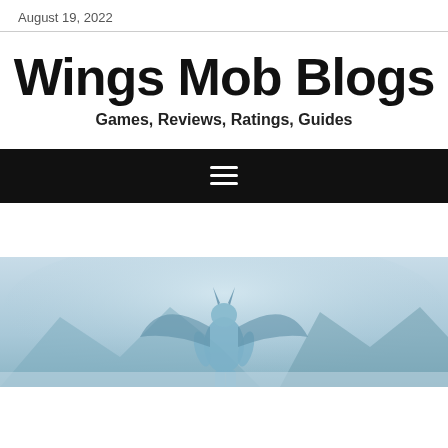August 19, 2022
Wings Mob Blogs
Games, Reviews, Ratings, Guides
[Figure (infographic): Black navigation bar with hamburger menu icon (three horizontal white lines) centered]
[Figure (photo): Fantasy game artwork showing a large blue-tinted armored creature or boss with horns and wings standing in a misty, mountain landscape. The scene has a cold blue-white color palette.]